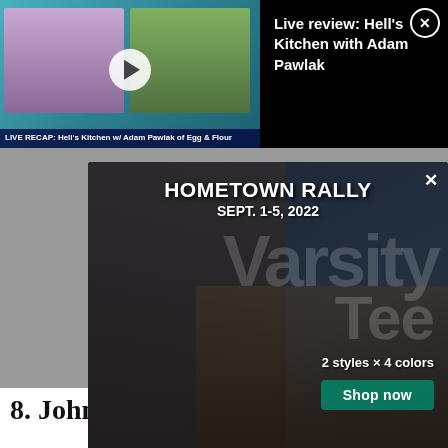[Figure (screenshot): Video player thumbnail showing two people in a live recap video, with a play button overlay. Caption reads: LIVE RECAP: Hell's Kitchen w/ Adam Pawlak of Egg & Flour]
Live review: Hell's Kitchen with Adam Pawlak
[Figure (photo): Advertisement overlay: HOMETOWN RALLY SEPT. 1-5, 2022. Varsity Tee. 1903. 2 styles x 4 colors. Shop now button. Shows a person in a black shirt and city street background.]
PLAN YOUR VISIT
8. Johnnie Walker's and The